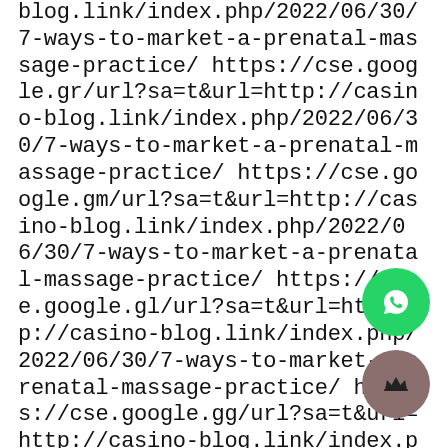blog.link/index.php/2022/06/30/7-ways-to-market-a-prenatal-massage-practice/ https://cse.google.gr/url?sa=t&url=http://casino-blog.link/index.php/2022/06/30/7-ways-to-market-a-prenatal-massage-practice/ https://cse.google.gm/url?sa=t&url=http://casino-blog.link/index.php/2022/06/30/7-ways-to-market-a-prenatal-massage-practice/ https://cse.google.gl/url?sa=t&url=http://casino-blog.link/index.php/2022/06/30/7-ways-to-market-a-prenatal-massage-practice/ https://cse.google.gg/url?sa=t&url=http://casino-blog.link/index.php/2022/06/30/7-ways-to-market-a-prenatal-massage-practice/ https://cse.google.ge/url?sa=t&url=http://casino-blog.link/index.php/2022/06/30/7-ways-to-market-a-prenatal-massage-practice/ https://cse.google.bf/url?sa=t&url=http://casino-
[Figure (other): WhatsApp floating action button - green circle with WhatsApp phone icon]
[Figure (other): Crown floating action button - mauve/brown circle with crown icon]